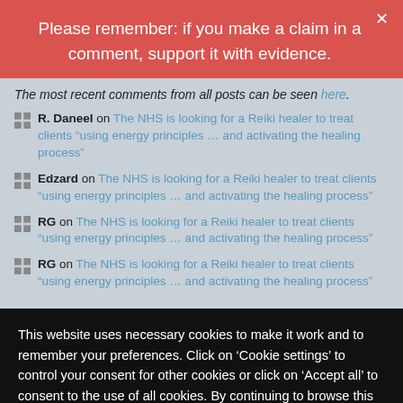Please remember: if you make a claim in a comment, support it with evidence.
The most recent comments from all posts can be seen here.
R. Daneel on The NHS is looking for a Reiki healer to treat clients "using energy principles … and activating the healing process"
Edzard on The NHS is looking for a Reiki healer to treat clients "using energy principles … and activating the healing process"
RG on The NHS is looking for a Reiki healer to treat clients "using energy principles … and activating the healing process"
RG on The NHS is looking for a Reiki healer to treat clients "using energy principles … and activating the healing process"
This website uses necessary cookies to make it work and to remember your preferences. Click on 'Cookie settings' to control your consent for other cookies or click on 'Accept all' to consent to the use of all cookies. By continuing to browse this website you are agreeing to our Privacy policy.
Accept all | Cookie settings | Privacy policy